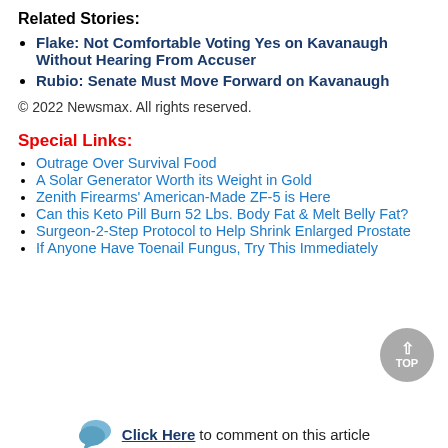Related Stories:
Flake: Not Comfortable Voting Yes on Kavanaugh Without Hearing From Accuser
Rubio: Senate Must Move Forward on Kavanaugh
© 2022 Newsmax. All rights reserved.
Special Links:
Outrage Over Survival Food
A Solar Generator Worth its Weight in Gold
Zenith Firearms' American-Made ZF-5 is Here
Can this Keto Pill Burn 52 Lbs. Body Fat & Melt Belly Fat?
Surgeon-2-Step Protocol to Help Shrink Enlarged Prostate
If Anyone Have Toenail Fungus, Try This Immediately
Click Here to comment on this article